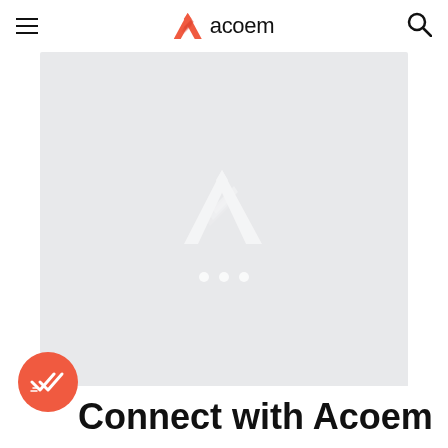acoem
[Figure (logo): Acoem logo watermark centered in a light gray placeholder image area with three loading dots below it]
[Figure (logo): Orange circular badge with white double-checkmark and lines icon]
Connect with Acoem